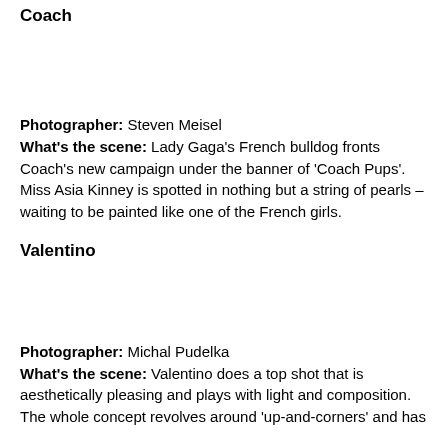Coach
Photographer: Steven Meisel
What's the scene: Lady Gaga's French bulldog fronts Coach's new campaign under the banner of 'Coach Pups'. Miss Asia Kinney is spotted in nothing but a string of pearls – waiting to be painted like one of the French girls.
Valentino
Photographer: Michal Pudelka
What's the scene: Valentino does a top shot that is aesthetically pleasing and plays with light and composition. The whole concept revolves around 'up-and-corners' and has